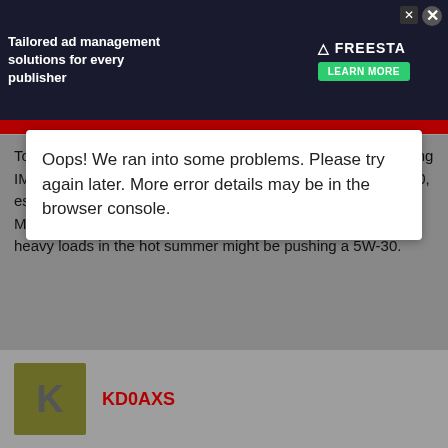[Figure (screenshot): Advertisement banner for Freestar ad management solutions with dark background]
Oops! We ran into some problems. Please try again later. More error details may be in the browser console.
Towing a 5000 lb boat in the heat of summer is not easy driving IMO. I would (and have used in my BB Suburban) M1 15W-50, especially with that many miles on the engine. Or maybe the M1 0W-40, but I don't have any experience with that. Towing heavy loads in the hot summer might be pushing a 5W-30.
5,000 lbs is chump for this truck. It is certainly not a heavy load. I'd also be more worried about the transmission than engine. There is absolutely no need to run a 15W50 or even 0W-40. GM has tested 5W30k in this design WELL beyond a 5,000 lb load in summer. FWIW, I have towed 50% more weight running 5W20, in summer, in my Ford. No worries at all.
KD0AXS